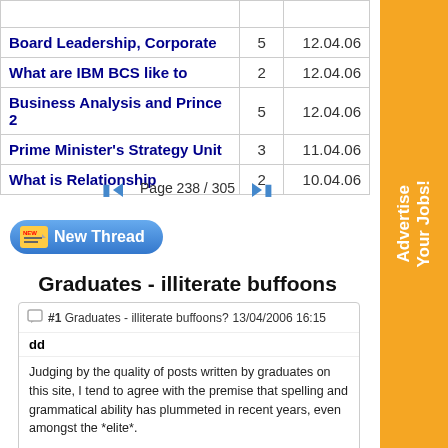| Topic | Replies | Date |
| --- | --- | --- |
| Board Leadership, Corporate | 5 | 12.04.06 |
| What are IBM BCS like to | 2 | 12.04.06 |
| Business Analysis and Prince 2 | 5 | 12.04.06 |
| Prime Minister's Strategy Unit | 3 | 11.04.06 |
| What is Relationship | 2 | 10.04.06 |
Page 238 / 305
New Thread
[Figure (other): Advertise Your Jobs! orange vertical banner ad]
Graduates - illiterate buffoons
#1 Graduates - illiterate buffoons?   13/04/2006 16:15
dd
Judging by the quality of posts written by graduates on this site, I tend to agree with the premise that spelling and grammatical ability has plummeted in recent years, even amongst the *elite*.

Thoughts? Musings?